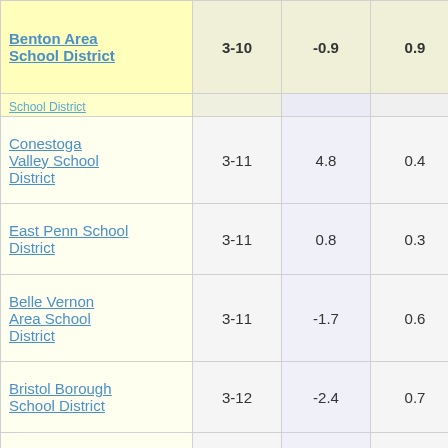| School District | Grades | Col3 | Col4 | Score |
| --- | --- | --- | --- | --- |
| Benton Area School District | 3-10 | -0.9 | 0.9 | -0.98 |
| (partial row) |  |  |  |  |
| Conestoga Valley School District | 3-11 | 4.8 | 0.4 | 12.76 |
| East Penn School District | 3-11 | 0.8 | 0.3 | 3.03 |
| Belle Vernon Area School District | 3-11 | -1.7 | 0.6 | -2.77 |
| Bristol Borough School District | 3-12 | -2.4 | 0.7 | -3.56 |
| Bedford Area School District | 3-11 | 3.8 | 0.6 | 6.78 |
| Philadelphia Academy Charter School | 3-11 | -2.5 | 0.7 | -3.55 |
| (partial row bottom) |  |  |  |  |